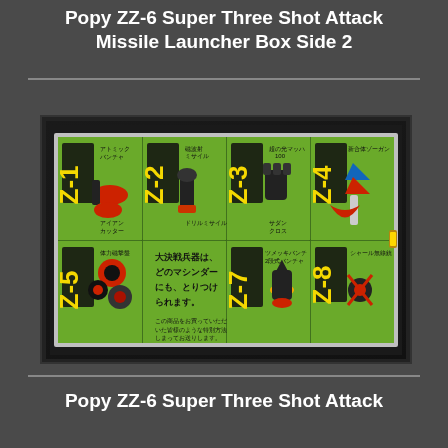Popy ZZ-6 Super Three Shot Attack Missile Launcher Box Side 2
[Figure (photo): Photo of the side 2 of a Popy ZZ-6 Super Three Shot Attack Missile Launcher toy box. The box face shows a green grid layout with Japanese toy weapon accessories labeled Z-1 through Z-8, each with Japanese text descriptions and colorful product images of various missile launchers and attachments.]
Popy ZZ-6 Super Three Shot Attack